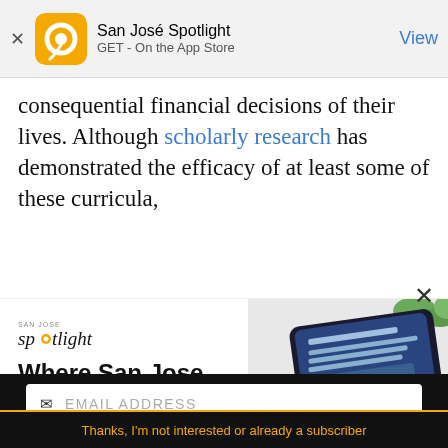San José Spotlight | GET - On the App Store
consequential financial decisions of their lives. Although scholarly research has demonstrated the efficacy of at least some of these curricula,
[Figure (infographic): San José Spotlight advertisement showing logo, tagline 'Where San Jose locals start the day.' with image of tablet and coffee, and website sanjosespotlight.com]
EMAIL ADDRESS
SUBSCRIBE
Thanks, I'm not interested or already a subscriber